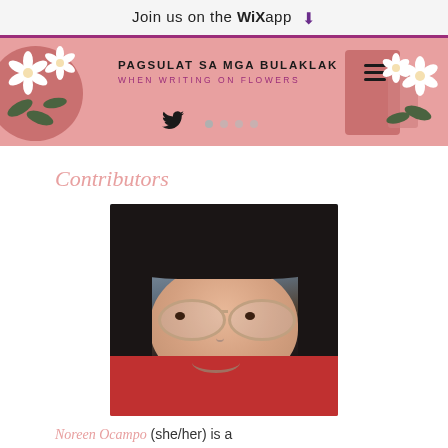Join us on the WiX app
[Figure (screenshot): Website banner for 'Pagsulat sa mga Bulaklak / When Writing on Flowers' with pink floral design, Twitter bird icon, dot navigation, and hamburger menu.]
Contributors
[Figure (photo): Headshot of a young woman with long dark hair, round glasses, and a red collared shirt, smiling at the camera.]
Noreen Ocampo (she/her) is a